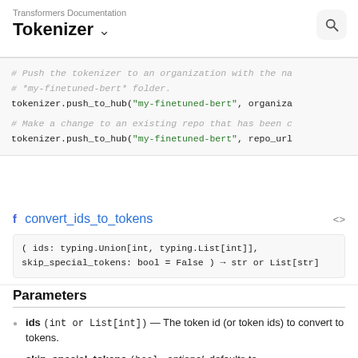Transformers Documentation
Tokenizer
# Push the tokenizer to an organization with the na
# *my-finetuned-bert* folder.
tokenizer.push_to_hub("my-finetuned-bert", organiza
# Make a change to an existing repo that has been c
tokenizer.push_to_hub("my-finetuned-bert", repo_url
convert_ids_to_tokens
( ids: typing.Union[int, typing.List[int]], skip_special_tokens: bool = False ) → str or List[str]
Parameters
ids (int or List[int]) — The token id (or token ids) to convert to tokens.
skip_special_tokens (bool, optional, defaults to